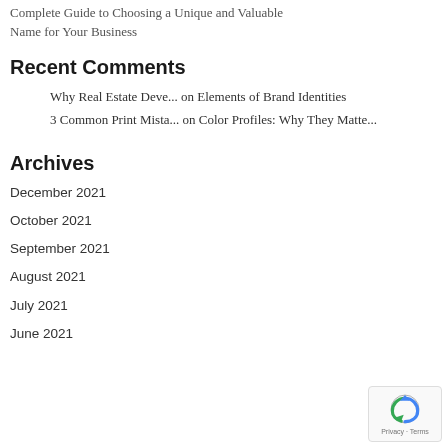Complete Guide to Choosing a Unique and Valuable Name for Your Business
Recent Comments
Why Real Estate Deve... on Elements of Brand Identities
3 Common Print Mista... on Color Profiles: Why They Matte...
Archives
December 2021
October 2021
September 2021
August 2021
July 2021
June 2021